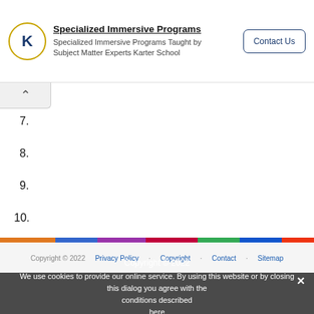[Figure (logo): Karter School logo: circular badge with K in center and decorative ring]
Specialized Immersive Programs
Specialized Immersive Programs Taught by Subject Matter Experts Karter School
Contact Us
7.
8.
9.
10.
Copyright © 2022  Privacy Policy  Copyright  Contact  Sitemap
We use cookies to provide our online service. By using this website or by closing this dialog you agree with the conditions described here.